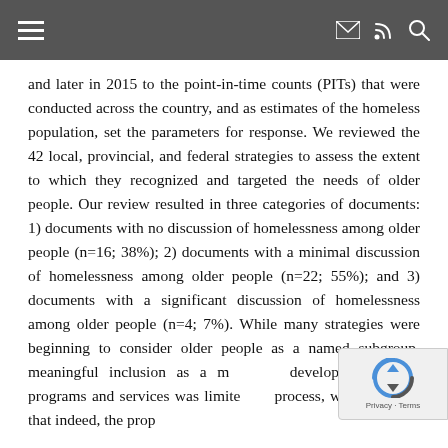and later in 2015 to the point-in-time counts (PITs) that were conducted across the country, and as estimates of the homeless population, set the parameters for response. We reviewed the 42 local, provincial, and federal strategies to assess the extent to which they recognized and targeted the needs of older people. Our review resulted in three categories of documents: 1) documents with no discussion of homelessness among older people (n=16; 38%); 2) documents with a minimal discussion of homelessness among older people (n=22; 55%); and 3) documents with a significant discussion of homelessness among older people (n=4; 7%). While many strategies were beginning to consider older people as a named subgroup, meaningful inclusion as a m… develop appropriate programs and services was limite… process, we also found that indeed, the prop…